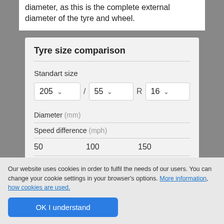diameter, as this is the complete external diameter of the tyre and wheel.
Tyre size comparison
Standart size
205 / 55 R 16
Diameter (mm)
Speed difference (mph)
50    100    150
Difference between diameters
Our website uses cookies in order to fulfil the needs of our users. You can change your cookie settings in your browser's options. More information, how cookies are used.
OK I understand